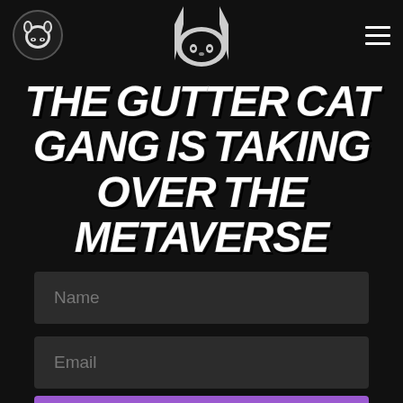Gutter Cat Gang navigation header with logo and hamburger menu
[Figure (logo): Cat face icon in a circular border, centered at top]
THE GUTTER CAT GANG IS TAKING OVER THE METAVERSE
Name
Email
STAY IN THE LOOP